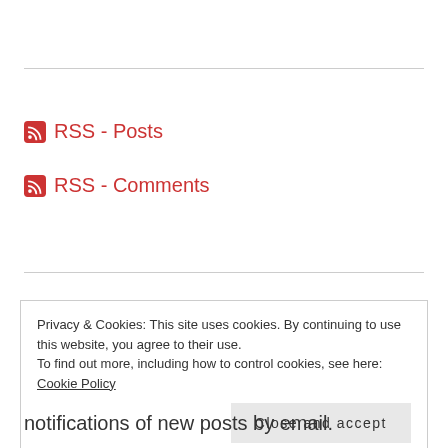RSS - Posts
RSS - Comments
Privacy & Cookies: This site uses cookies. By continuing to use this website, you agree to their use. To find out more, including how to control cookies, see here: Cookie Policy
Close and accept
notifications of new posts by email.